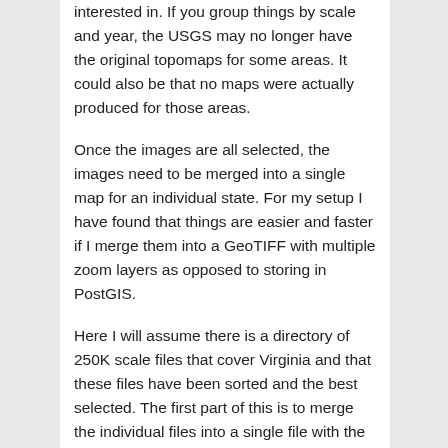interested in. If you group things by scale and year, the USGS may no longer have the original topomaps for some areas. It could also be that no maps were actually produced for those areas.
Once the images are all selected, the images need to be merged into a single map for an individual state. For my setup I have found that things are easier and faster if I merge them into a GeoTIFF with multiple zoom layers as opposed to storing in PostGIS.
Here I will assume there is a directory of 250K scale files that cover Virginia and that these files have been sorted and the best selected. The first part of this is to merge the individual files into a single file with the command: